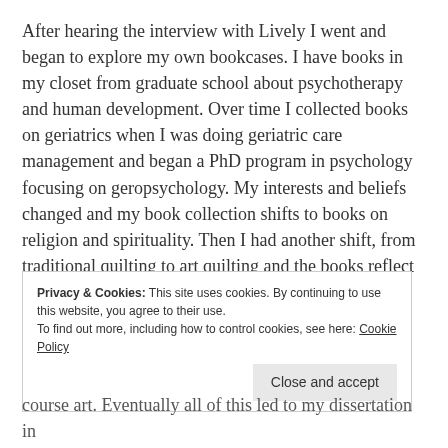After hearing the interview with Lively I went and began to explore my own bookcases. I have books in my closet from graduate school about psychotherapy and human development. Over time I collected books on geriatrics when I was doing geriatric care management and began a PhD program in psychology focusing on geropsychology. My interests and beliefs changed and my book collection shifts to books on religion and spirituality. Then I had another shift, from traditional quilting to art quilting and the books reflect an awakening to my own creative potential.
Privacy & Cookies: This site uses cookies. By continuing to use this website, you agree to their use.
To find out more, including how to control cookies, see here: Cookie Policy
Close and accept
course art. Eventually all of this led to my dissertation in